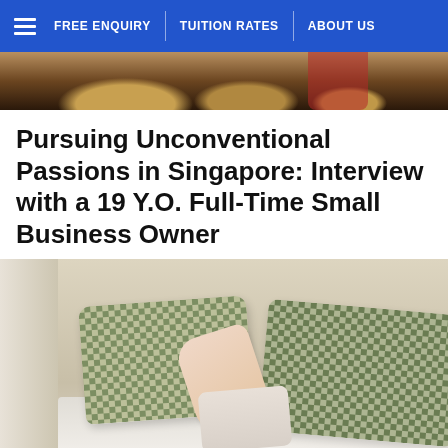FREE ENQUIRY | TUITION RATES | ABOUT US
[Figure (photo): Top portion of an image showing golden mushrooms or flowers on dark soil/earth, with a red garment visible]
Pursuing Unconventional Passions in Singapore: Interview with a 19 Y.O. Full-Time Small Business Owner
[Figure (photo): A person hiding their face behind a checkered green pillow on a bed with white sheets, another checkered pillow visible to the right, curtain in background]
How Should Parents...